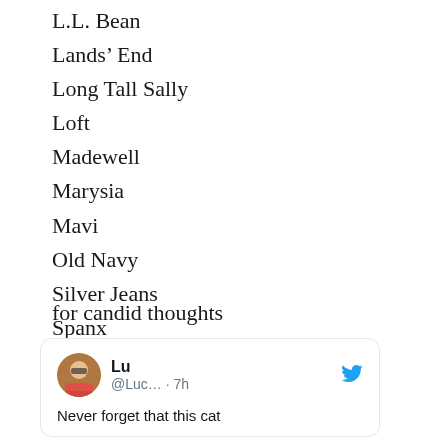L.L. Bean
Lands’ End
Long Tall Sally
Loft
Madewell
Marysia
Mavi
Old Navy
Silver Jeans
Spanx
Summersalt
Talltique
for candid thoughts
[Figure (screenshot): Tweet card from user Lu (@Luc...) posted 7h ago with Twitter bird logo, avatar photo of person in pink top with mask, and text starting 'Never forget that this cat']